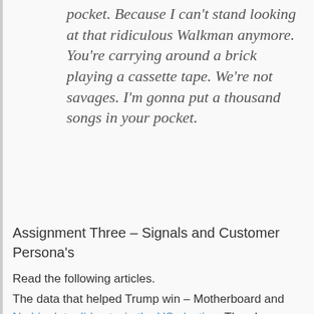pocket. Because I can't stand looking at that ridiculous Walkman anymore. You're carrying around a brick playing a cassette tape. We're not savages. I'm gonna put a thousand songs in your pocket.
Assignment Three – Signals and Customer Persona's
Read the following articles.
The data that helped Trump win – Motherboard and No big data did not win the US election. Then browse through Dr. Kosinski